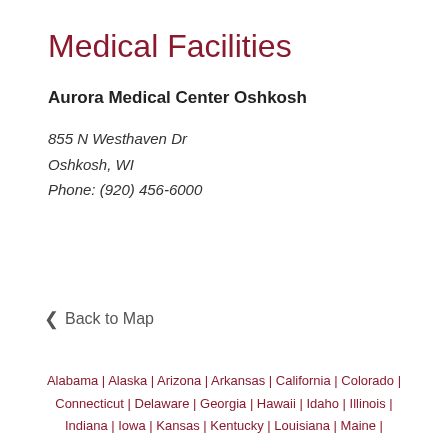Medical Facilities
Aurora Medical Center Oshkosh
855 N Westhaven Dr
Oshkosh, WI
Phone: (920) 456-6000
< Back to Map
Alabama | Alaska | Arizona | Arkansas | California | Colorado | Connecticut | Delaware | Georgia | Hawaii | Idaho | Illinois | Indiana | Iowa | Kansas | Kentucky | Louisiana | Maine |